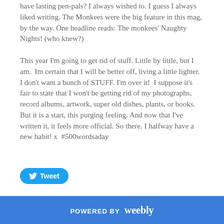have lasting pen-pals? I always wished to. I guess I always liked writing. The Monkees were the big feature in this mag, by the way. One headline reads: The monkees' Naughty Nights!  (who knew?)
This year I'm going to get rid of stuff. Little by little, but I am.  Im certain that I will be better off, living a little lighter. I don't want a bunch of STUFF. I'm over it!  I suppose it's fair to state that I won't be getting rid of my photographs, record albums, artwork, super old dishes, plants, or books. But it is a start, this purging feeling. And now that I've written it, it feels more official. So there. I halfway have a new habit! x  #500wordsaday
[Figure (other): Twitter Tweet button in blue rounded pill shape with bird icon]
POWERED BY weebly